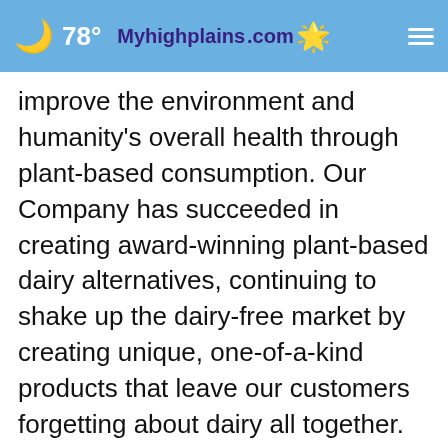🌙 78° | Myhighplains.com | ☰
improve the environment and humanity's overall health through plant-based consumption. Our Company has succeeded in creating award-winning plant-based dairy alternatives, continuing to shake up the dairy-free market by creating unique, one-of-a-kind products that leave our customers forgetting about dairy all together.
Learn more at www.PlantVeda.com.
[Figure (other): Advertisement banner: CIERRA TOWING & CRUSHING LLC — 24 Hour Wrecker Service 806-381-2561]
To s... Veda,